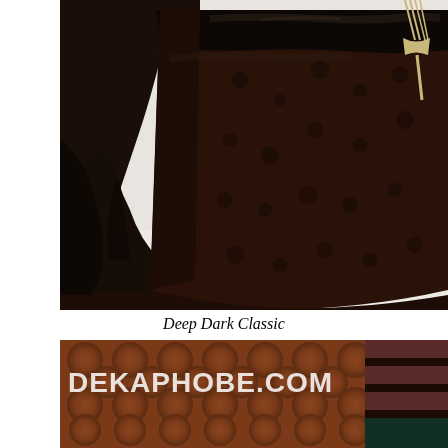[Figure (photo): Close-up photograph of a slice of deep dark chocolate cake with shiny dark chocolate ganache glaze on top and sides, on a white plate, with a fork visible in the upper right corner.]
Deep Dark Classic
[Figure (photo): Photograph showing a tufted brown leather surface with a layered chocolate cake visible on the right side, with DEKAPHOBE.COM watermark text overlay in white.]